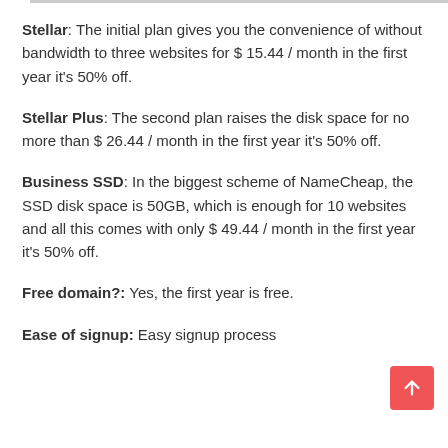Stellar: The initial plan gives you the convenience of without bandwidth to three websites for $ 15.44 / month in the first year it's 50% off.
Stellar Plus: The second plan raises the disk space for no more than $ 26.44 / month in the first year it's 50% off.
Business SSD: In the biggest scheme of NameCheap, the SSD disk space is 50GB, which is enough for 10 websites and all this comes with only $ 49.44 / month in the first year it's 50% off.
Free domain?: Yes, the first year is free.
Ease of signup: Easy signup process